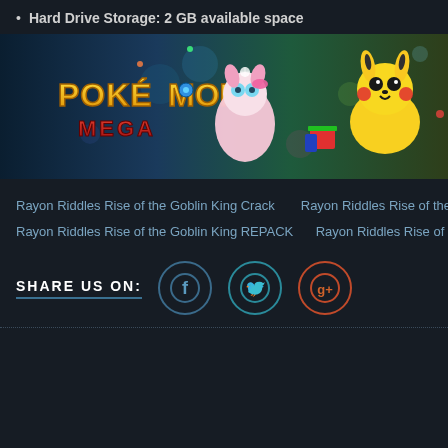Hard Drive Storage: 2 GB available space
[Figure (illustration): Pokemon Mega promotional banner with pink/white Sylveon-like Pokemon and Pikachu with holiday gifts on a blue background, with Pokemon Mega logo.]
Rayon Riddles Rise of the Goblin King Crack   Rayon Riddles Rise of the Goblin King
Rayon Riddles Rise of the Goblin King REPACK   Rayon Riddles Rise of the Goblin Ki
SHARE US ON:
[Figure (infographic): Social share icons: Facebook (f), Twitter (bird), Google+ (g+) as circular icons with teal/blue/orange borders]